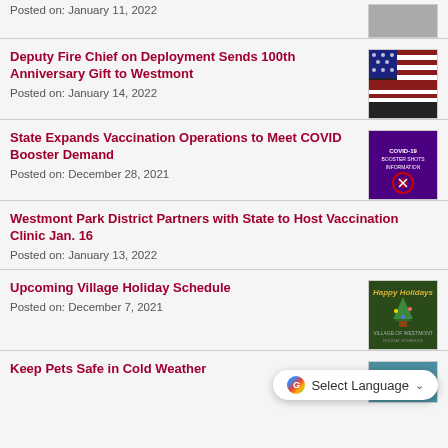Posted on: January 11, 2022
Deputy Fire Chief on Deployment Sends 100th Anniversary Gift to Westmont
Posted on: January 14, 2022
State Expands Vaccination Operations to Meet COVID Booster Demand
Posted on: December 28, 2021
Westmont Park District Partners with State to Host Vaccination Clinic Jan. 16
Posted on: January 13, 2022
Upcoming Village Holiday Schedule
Posted on: December 7, 2021
Keep Pets Safe in Cold Weather